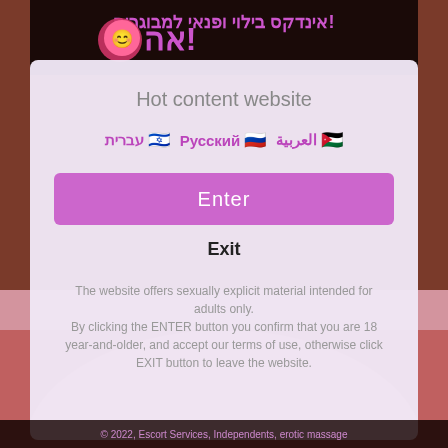[Figure (logo): Website logo with Hebrew text and stylized icon]
Hot content website
עברית 🇮🇱  Русский 🇷🇺  العربية 🇯🇴
Enter
Exit
The website offers sexually explicit material intended for adults only. By clicking the ENTER button you confirm that you are 18 year-and-older, and accept our terms of use, otherwise click EXIT button to leave the website.
© 2022, Escort Services, Independents, erotic massage